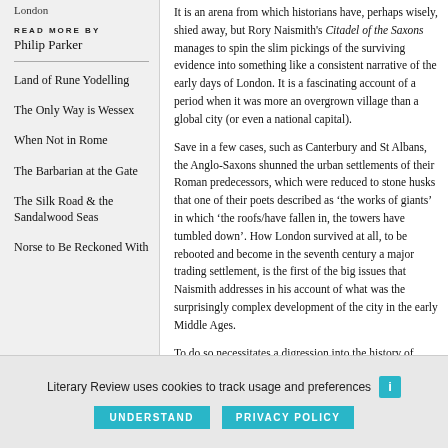London
READ MORE BY
Philip Parker
Land of Rune Yodelling
The Only Way is Wessex
When Not in Rome
The Barbarian at the Gate
The Silk Road & the Sandalwood Seas
Norse to Be Reckoned With
It is an arena from which historians have, perhaps wisely, shied away, but Rory Naismith's Citadel of the Saxons manages to spin the slim pickings of the surviving evidence into something like a consistent narrative of the early days of London. It is a fascinating account of a period when it was more an overgrown village than a global city (or even a national capital).
Save in a few cases, such as Canterbury and St Albans, the Anglo-Saxons shunned the urban settlements of their Roman predecessors, which were reduced to stone husks that one of their poets described as ‘the works of giants’ in which ‘the roofs/have fallen in, the towers have tumbled down’. How London survived at all, to be rebooted and become in the seventh century a major trading settlement, is the first of the big issues that Naismith addresses in his account of what was the surprisingly complex development of the city in the early Middle Ages.
To do so necessitates a digression into the history of Roman London itself. This, while obviously fascinating, with its
Literary Review uses cookies to track usage and preferences
UNDERSTAND
PRIVACY POLICY